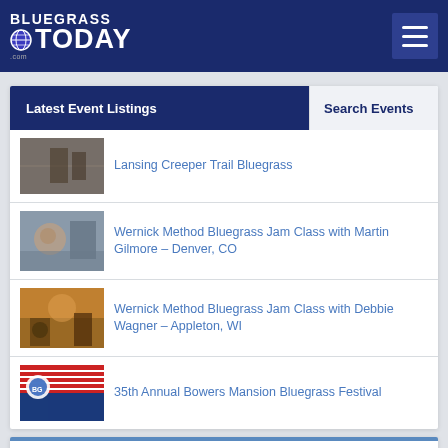Bluegrass Today
Latest Event Listings
Search Events
Lansing Creeper Trail Bluegrass
Wernick Method Bluegrass Jam Class with Martin Gilmore – Denver, CO
Wernick Method Bluegrass Jam Class with Debbie Wagner – Appleton, WI
35th Annual Bowers Mansion Bluegrass Festival
Bluegrass Today Profiles
Bluegrass Beyond Borders: The Fountaineers go international from...